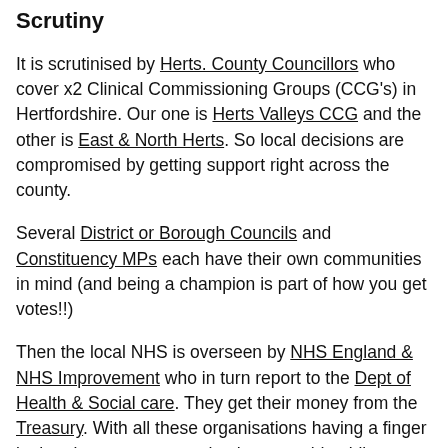Scrutiny
It is scrutinised by Herts. County Councillors who cover x2 Clinical Commissioning Groups (CCG's) in Hertfordshire. Our one is Herts Valleys CCG and the other is East & North Herts. So local decisions are compromised by getting support right across the county.
Several District or Borough Councils and Constituency MPs each have their own communities in mind (and being a champion is part of how you get votes!!)
Then the local NHS is overseen by NHS England & NHS Improvement who in turn report to the Dept of Health & Social care. They get their money from the Treasury. With all these organisations having a finger in the pie, you can see why the poor old public sometimes don't get a look in!